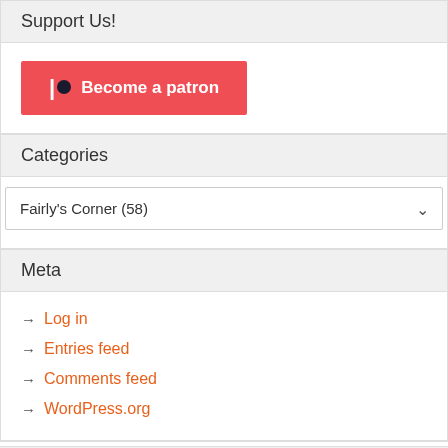Support Us!
[Figure (other): Patreon 'Become a patron' button with red background and white text]
Categories
Fairly's Corner  (58)
Meta
→ Log in
→ Entries feed
→ Comments feed
→ WordPress.org
Pages